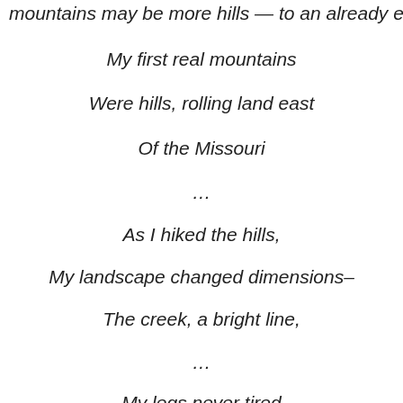mountains may be more hills — to an already explore...
My first real mountains
Were hills, rolling land east
Of the Missouri
…
As I hiked the hills,
My landscape changed dimensions–
The creek, a bright line,
…
My legs never tired
To find more sites, people, world